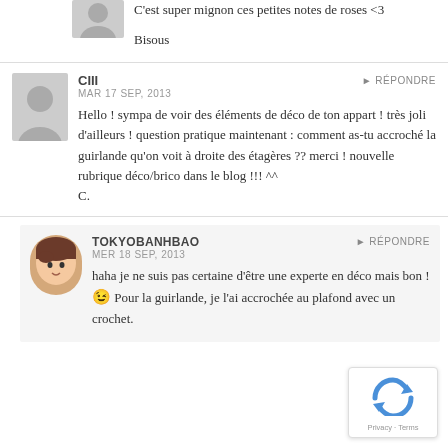C'est super mignon ces petites notes de roses <3

Bisous
CIII
MAR 17 SEP, 2013
Hello ! sympa de voir des éléments de déco de ton appart ! très joli d'ailleurs ! question pratique maintenant : comment as-tu accroché la guirlande qu'on voit à droite des étagères ?? merci ! nouvelle rubrique déco/brico dans le blog !!! ^^ C.
TOKYOBANHBAO
MER 18 SEP, 2013
haha je ne suis pas certaine d'être une experte en déco mais bon ! 😉 Pour la guirlande, je l'ai accrochée au plafond avec un crochet.